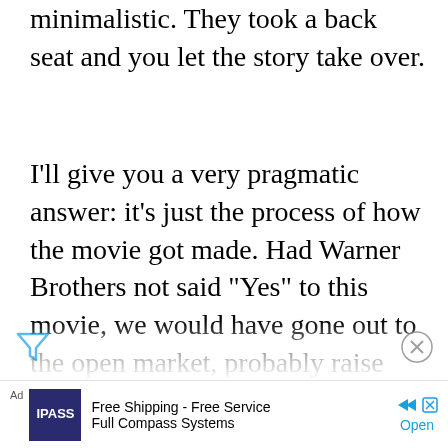minimalistic. They took a back seat and you let the story take over.
I'll give you a very pragmatic answer: it's just the process of how the movie got made. Had Warner Brothers not said “Yes” to this movie, we would have gone out to the open market, probably raise less money than we were given at Warner Brothers, and I would have made it independently. And then we wouldn't be having this conversation. But, Warner Brothers doesn't change the nature of what it was. I had the script written, I had Michael Shannon in the lead and I
brough... ...y